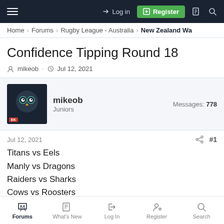Log in | Register
Home › Forums › Rugby League - Australia › New Zealand Wa
Confidence Tipping Round 18
mikeob · Jul 12, 2021
mikeob
Juniors
Messages: 778
Jul 12, 2021  #1
Titans vs Eels
Manly vs Dragons
Raiders vs Sharks
Cows vs Roosters
Storm vs Knights
Forums | What's New | Log In | Register | Search